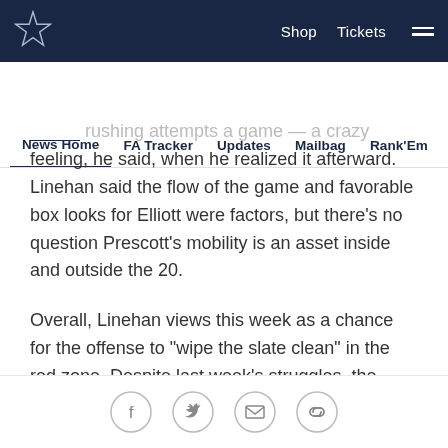Dallas Cowboys navigation bar with logo, Shop, Tickets
News Home | FA Tracker | Updates | Mailbag | Rank'Em | Cowbuz
...rushing attempts a game — a crazy feeling, he said, when he realized it afterward. Linehan said the flow of the game and favorable box looks for Elliott were factors, but there's no question Prescott's mobility is an asset inside and outside the 20.
Overall, Linehan views this week as a chance for the offense to "wipe the slate clean" in the red zone. Despite last week's struggles, the Cowboys (8-6) have another opportunity to clinch the NFC East this Sunday at home.
"We've got to get down there and cash in," he said.
"Give them a great plan and then we've got to go out
Social share icons: Facebook, Twitter, Email, Link